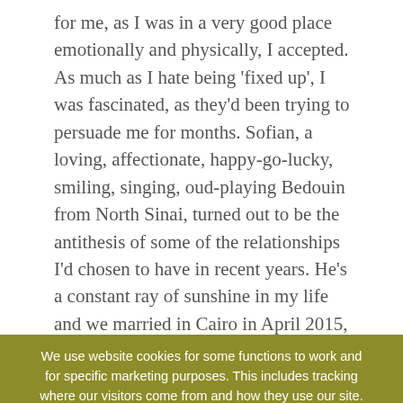for me, as I was in a very good place emotionally and physically, I accepted. As much as I hate being 'fixed up', I was fascinated, as they'd been trying to persuade me for months. Sofian, a loving, affectionate, happy-go-lucky, smiling, singing, oud-playing Bedouin from North Sinai, turned out to be the antithesis of some of the relationships I'd chosen to have in recent years. He's a constant ray of sunshine in my life and we married in Cairo in April 2015, two years after the Process. We then had a fusion Bedouin/British wedding party in the mountains of Dahab in the May, surrounded by our friends plus my Dad, his partner and my sister who flew over from the UK.
[Figure (screenshot): Cookie consent banner with olive/dark yellow background saying 'We use website cookies for some functions to work and for specific marketing purposes. This includes tracking where our visitors come from and how they use our site. We don't identify you from that information though. If you're OK with that, click I'm happy'. Contains links 'I'm happy' and 'Hoffman Privacy Notice' in gold/orange color.]
been on the brink of selling is now flourishing thanks to good friends who have supported me. Delegation was all that was needed but I had always been such a control freak. We made it to the official Specialists list